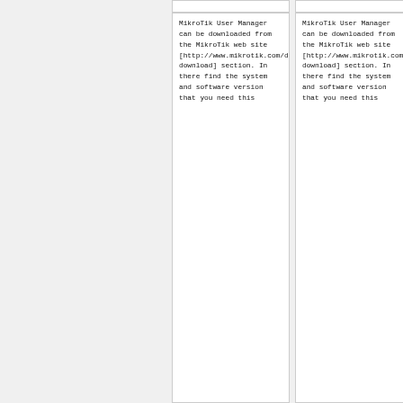MikroTik User Manager can be downloaded from the MikroTik web site [http://www.mikrotik.com/download.html download] section. In there find the system and software version that you need this
MikroTik User Manager can be downloaded from the MikroTik web site [http://www.mikrotik.com/download.html download] section. In there find the system and software version that you need this